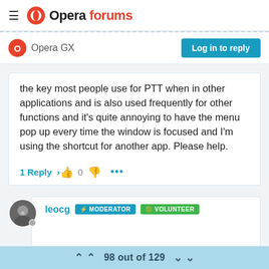Opera forums
Opera GX
Log in to reply
the key most people use for PTT when in other applications and is also used frequently for other functions and it's quite annoying to have the menu pop up every time the window is focused and I'm using the shortcut for another app. Please help.
1 Reply >
leocg  MODERATOR  VOLUNTEER
98 out of 129